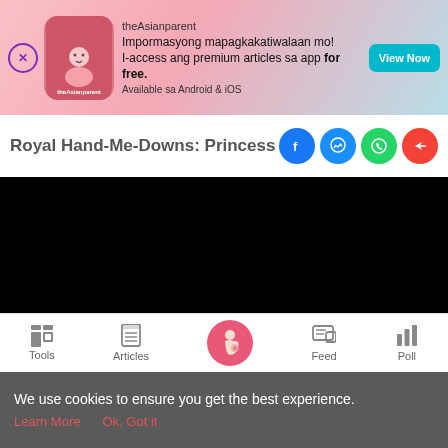[Figure (screenshot): theAsianparent app advertisement banner with pink gradient background, app icon, text 'Impormasyong mapagkakatiwalaan mo! I-access ang premium articles sa app for free. Available sa Android & iOS', and a teal 'View Now' button]
Royal Hand-Me-Downs: Princess Cha…
[Figure (screenshot): Black video player area (video content not visible)]
[Figure (screenshot): Video carousel with three video thumbnails: first showing two women (6:50), second showing cartoon mother and baby '12 facts and tips for first time moms' (0:58), third showing cartoon about '7 IMPORTANT FACTS ABOUT NEWBORNS' (1:11), with left and right navigation arrows]
[Figure (screenshot): Bottom navigation bar with icons and labels: Tools, Articles, center pregnancy icon (pink circle), Feed, Poll]
We use cookies to ensure you get the best experience.
Learn More   Ok, Got it